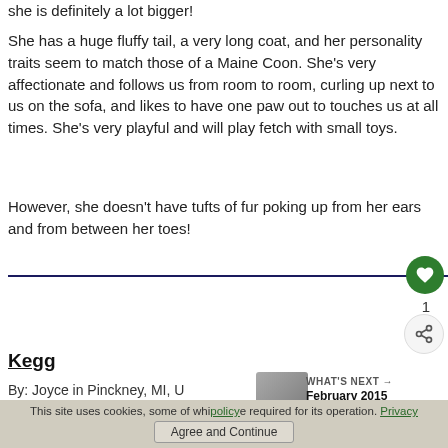she is definitely a lot bigger!
She has a huge fluffy tail, a very long coat, and her personality traits seem to match those of a Maine Coon. She's very affectionate and follows us from room to room, curling up next to us on the sofa, and likes to have one paw out to touches us at all times. She's very playful and will play fetch with small toys.
However, she doesn't have tufts of fur poking up from her ears and from between her toes!
Kegg
By: Joyce in Pinckney, MI, U
WHAT'S NEXT → February 2015 Maybe-...
This site uses cookies, some of which are required for its operation. Privacy policy
Agree and Continue